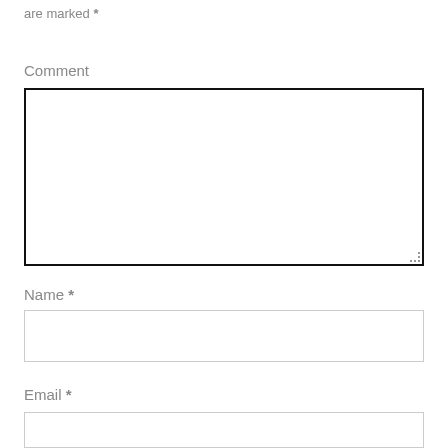are marked *
Comment
[Figure (other): Empty comment textarea input box with thick black border and resize handle]
Name *
[Figure (other): Empty name text input box with light gray border]
Email *
[Figure (other): Empty email text input box with light gray border, partially visible]